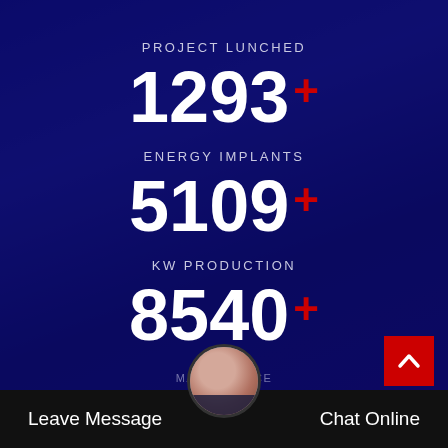PROJECT LUNCHED
1293+
ENERGY IMPLANTS
5109+
KW PRODUCTION
8540+
MAINTENANCE
Leave Message   Chat Online